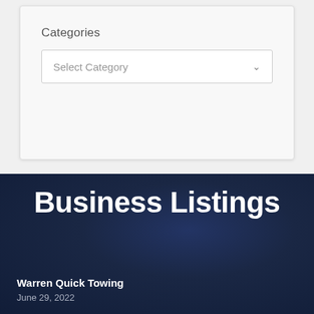Categories
[Figure (screenshot): A dropdown select input labeled 'Select Category' with a chevron arrow on the right]
Business Listings
Warren Quick Towing
June 29, 2022